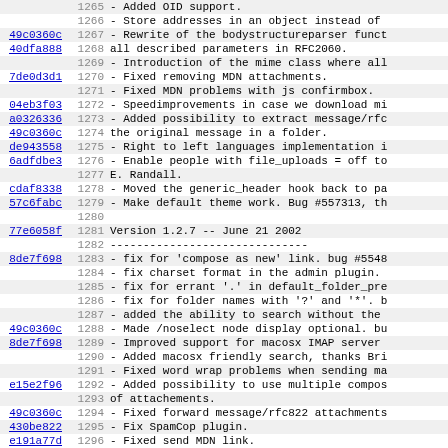Code changelog view showing git blame with line numbers, commit hashes (linked), and change log entries for SquirrelMail, covering lines 1265-1297, including Version 1.2.7 -- June 21 2002 header.